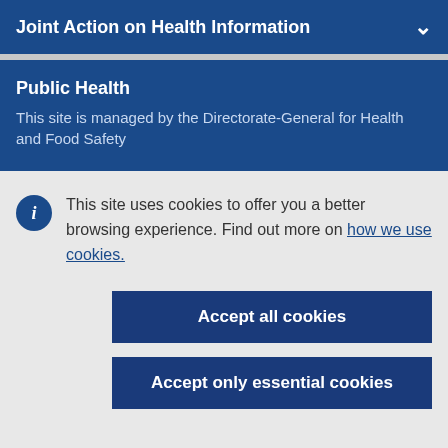Joint Action on Health Information
Public Health
This site is managed by the Directorate-General for Health and Food Safety
This site uses cookies to offer you a better browsing experience. Find out more on how we use cookies.
Accept all cookies
Accept only essential cookies